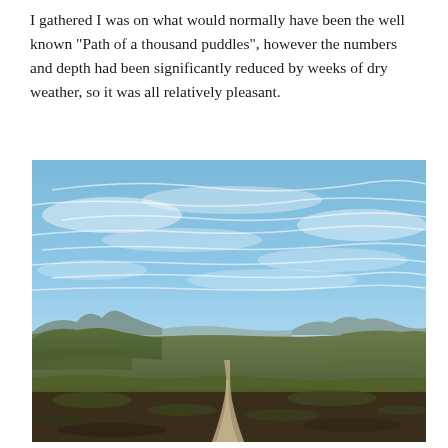I gathered I was on what would normally have been the well known "Path of a thousand puddles", however the numbers and depth had been significantly reduced by weeks of dry weather, so it was all relatively pleasant.
[Figure (photo): Outdoor landscape photo showing a dirt path/track winding through open moorland with low green and brown scrubby vegetation on rolling hills. A mountain peak is visible in the middle distance. The sky above is bright blue with wispy white cloud streaks, taking up roughly the top two-thirds of the image.]